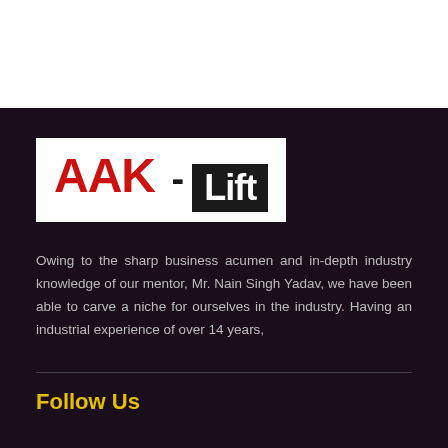[Figure (logo): AAK - Lift company logo with red bold 'AAK' text and 'Lift' in white on dark background]
Owing to the sharp business acumen and in-depth industry knowledge of our mentor, Mr. Nain Singh Yadav, we have been able to carve a niche for ourselves in the industry. Having an industrial experience of over 14 years,
Follow Us